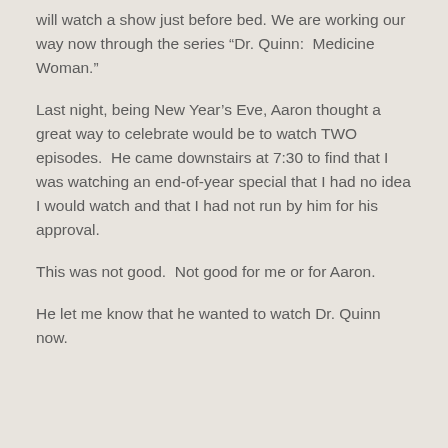will watch a show just before bed.  We are working our way now through the series “Dr. Quinn:  Medicine Woman.”
Last night, being New Year’s Eve, Aaron thought a great way to celebrate would be to watch TWO episodes.  He came downstairs at 7:30 to find that I was watching an end-of-year special that I had no idea I would watch and that I had not run by him for his approval.
This was not good.  Not good for me or for Aaron.
He let me know that he wanted to watch Dr. Quinn now.